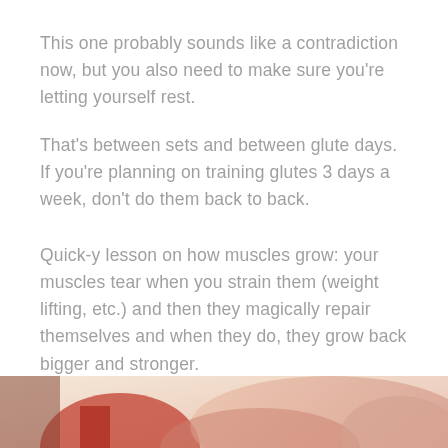This one probably sounds like a contradiction now, but you also need to make sure you’re letting yourself rest.
That’s between sets and between glute days. If you’re planning on training glutes 3 days a week, don’t do them back to back.
Quick-y lesson on how muscles grow: your muscles tear when you strain them (weight lifting, etc.) and then they magically repair themselves and when they do, they grow back bigger and stronger.
To be able to repair themselves, and therefore grow, they need time to rest! if you’re training a muscle every single day, it’s not going to have the time it needs to rebuild itself fully.
[Figure (photo): Partial photo strip showing fitness/gym related image with pink and warm tones at the bottom of the page]